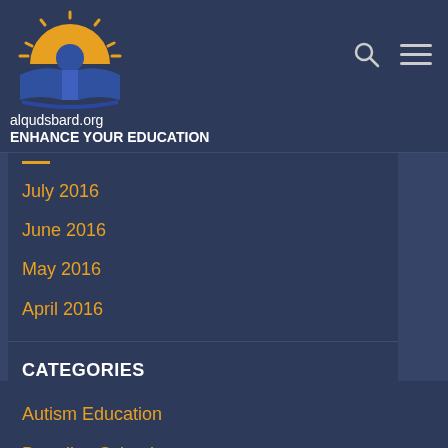[Figure (logo): alqudsbard.org logo with sun rays and open book in blue and orange/gold colors]
alqudsbard.org
ENHANCE YOUR EDUCATION
July 2016
June 2016
May 2016
April 2016
CATEGORIES
Autism Education
Boarding School
College